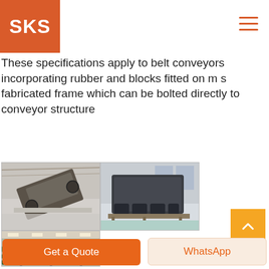SKS
These specifications apply to belt conveyors incorporating rubber and blocks fitted on m s fabricated frame which can be bolted directly to conveyor structure
[Figure (photo): Industrial belt conveyor machinery in a factory setting, tilted angle view]
[Figure (photo): Large industrial machine unit in a factory warehouse setting, dark colored equipment on pallet]
[Figure (photo): Conveyor belt system inside a large industrial building with green conveyors]